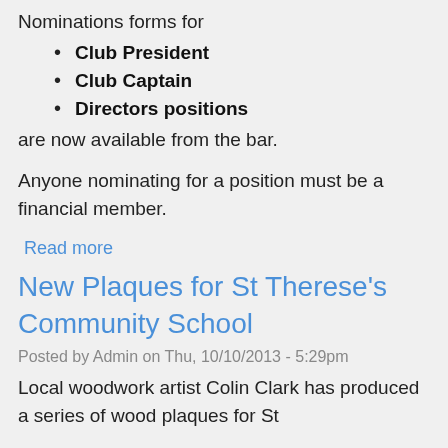Nominations forms for
Club President
Club Captain
Directors positions
are now available from the bar.
Anyone nominating for a position must be a financial member.
Read more
New Plaques for St Therese's Community School
Posted by Admin on Thu, 10/10/2013 - 5:29pm
Local woodwork artist Colin Clark has produced a series of wood plaques for St